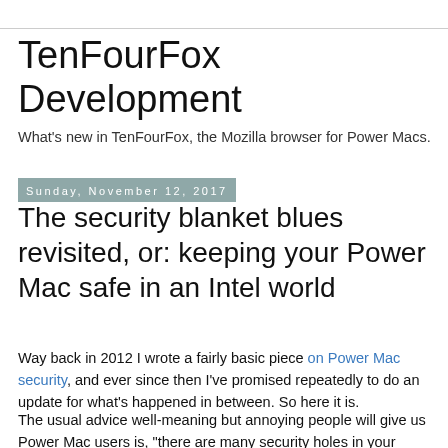TenFourFox Development
What's new in TenFourFox, the Mozilla browser for Power Macs.
Sunday, November 12, 2017
The security blanket blues revisited, or: keeping your Power Mac safe in an Intel world
Way back in 2012 I wrote a fairly basic piece on Power Mac security, and ever since then I've promised repeatedly to do an update for what's happened in between. So here it is.
The usual advice well-meaning but annoying people will give us Power Mac users is, "there are many security holes in your machine, so you shouldn't ever use it on the Internet." The first part is true. The second part is, at least right now,